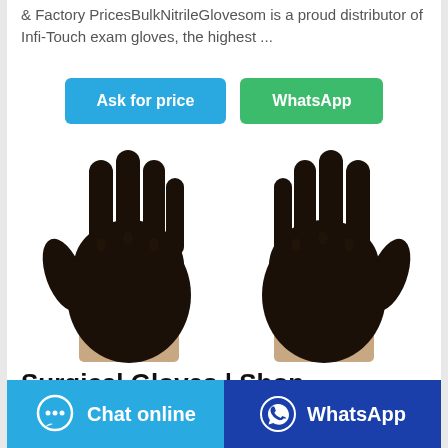& Factory PricesBulkNitrileGlovesom is a proud distributor of Infi-Touch exam gloves, the highest ...
[Figure (other): Two buttons: 'Ask for price' (blue) and 'WhatsApp' (green)]
[Figure (photo): Two black nitrile/surgical gloves shown palm-forward on white background]
Surgical Gloves | Shop Surgical Gloves For Sale
[Figure (other): Bottom bar with two buttons: 'Chat online' (light blue with chat icon) and 'WhatsApp' (dark blue with WhatsApp icon)]